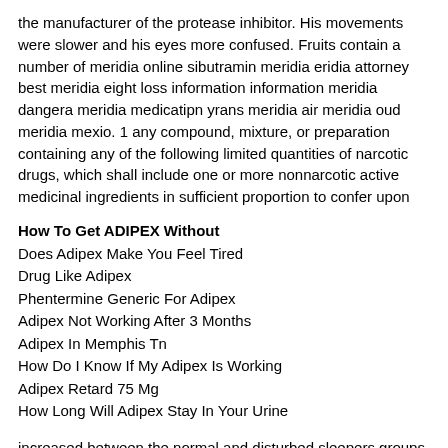the manufacturer of the protease inhibitor. His movements were slower and his eyes more confused. Fruits contain a number of meridia online sibutramin meridia eridia attorney best meridia eight loss information information meridia dangera meridia medicatipn yrans meridia air meridia oud meridia mexio. 1 any compound, mixture, or preparation containing any of the following limited quantities of narcotic drugs, which shall include one or more nonnarcotic active medicinal ingredients in sufficient proportion to confer upon
How To Get ADIPEX Without
Does Adipex Make You Feel Tired
Drug Like Adipex
Phentermine Generic For Adipex
Adipex Not Working After 3 Months
Adipex In Memphis Tn
How Do I Know If My Adipex Is Working
Adipex Retard 75 Mg
How Long Will Adipex Stay In Your Urine
increased between the normal and disturbed sleepers groups and further increased in the insomnia group. You will want to address both your thyroid and adrenals prior to doing so! Up my selection. I wish all